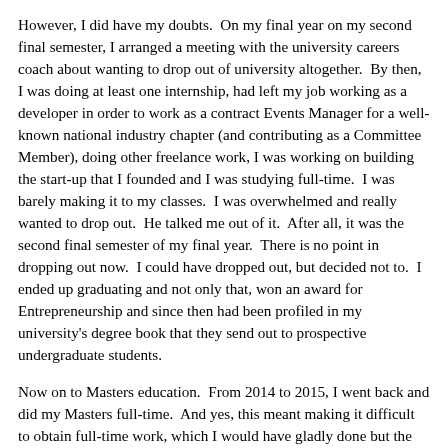However, I did have my doubts.  On my final year on my second final semester, I arranged a meeting with the university careers coach about wanting to drop out of university altogether.  By then, I was doing at least one internship, had left my job working as a developer in order to work as a contract Events Manager for a well-known national industry chapter (and contributing as a Committee Member), doing other freelance work, I was working on building the start-up that I founded and I was studying full-time.  I was barely making it to my classes.  I was overwhelmed and really wanted to drop out.  He talked me out of it.  After all, it was the second final semester of my final year.  There is no point in dropping out now.  I could have dropped out, but decided not to.  I ended up graduating and not only that, won an award for Entrepreneurship and since then had been profiled in my university's degree book that they send out to prospective undergraduate students.
Now on to Masters education.  From 2014 to 2015, I went back and did my Masters full-time.  And yes, this meant making it difficult to obtain full-time work, which I would have gladly done but the circumstance made it difficult to obtain it in the first place.
Undertaking the Masters level education was a bit more of a challenge because I was constantly comparing what my life could have been if I was not studying full-time. I was feeling very